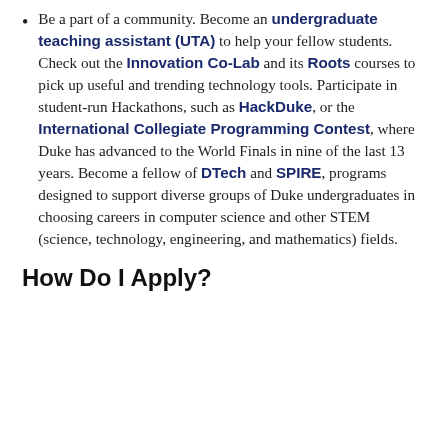Be a part of a community. Become an undergraduate teaching assistant (UTA) to help your fellow students. Check out the Innovation Co-Lab and its Roots courses to pick up useful and trending technology tools. Participate in student-run Hackathons, such as HackDuke, or the International Collegiate Programming Contest, where Duke has advanced to the World Finals in nine of the last 13 years. Become a fellow of DTech and SPIRE, programs designed to support diverse groups of Duke undergraduates in choosing careers in computer science and other STEM (science, technology, engineering, and mathematics) fields.
How Do I Apply?